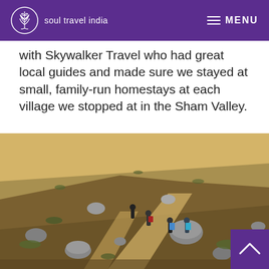soul travel india   MENU
with Skywalker Travel who had great local guides and made sure we stayed at small, family-run homestays at each village we stopped at in the Sham Valley.
[Figure (photo): Group of hikers trekking along a rocky mountain trail in an arid, high-altitude landscape with scattered boulders and sparse vegetation.]